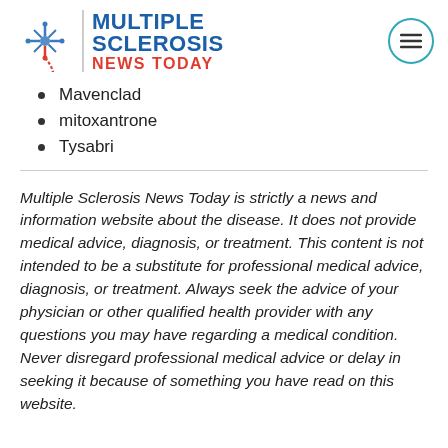[Figure (logo): Multiple Sclerosis News Today logo with snowflake/neuron icon, blue vertical divider, blue MULTIPLE SCLEROSIS text and red NEWS TODAY text, and teal hamburger menu circle icon on the right]
Mavenclad
mitoxantrone
Tysabri
Multiple Sclerosis News Today is strictly a news and information website about the disease. It does not provide medical advice, diagnosis, or treatment. This content is not intended to be a substitute for professional medical advice, diagnosis, or treatment. Always seek the advice of your physician or other qualified health provider with any questions you may have regarding a medical condition. Never disregard professional medical advice or delay in seeking it because of something you have read on this website.